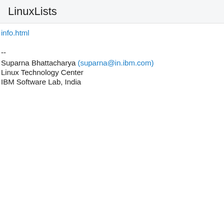LinuxLists
info.html
--
Suparna Bhattacharya (suparna@in.ibm.com)
Linux Technology Center
IBM Software Lab, India